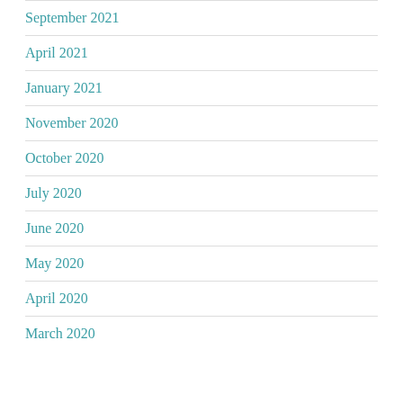September 2021
April 2021
January 2021
November 2020
October 2020
July 2020
June 2020
May 2020
April 2020
March 2020